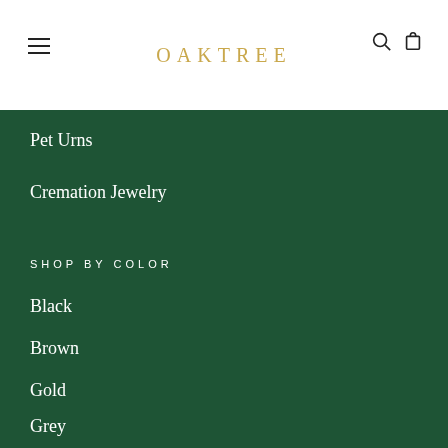OAKTREE
Pet Urns
Cremation Jewelry
SHOP BY COLOR
Black
Brown
Gold
Grey
Multicolor
Rose Gold